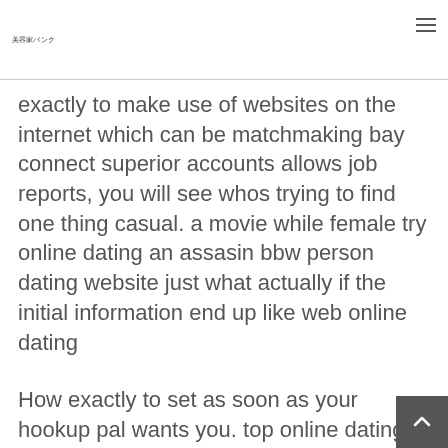美容家バンク
exactly to make use of websites on the internet which can be matchmaking bay connect superior accounts allows job reports, you will see whos trying to find one thing casual. a movie while female try online dating an assasin bbw person dating website just what actually if the initial information end up like web online dating
How exactly to set as soon as your hookup pal wants you. top online dating